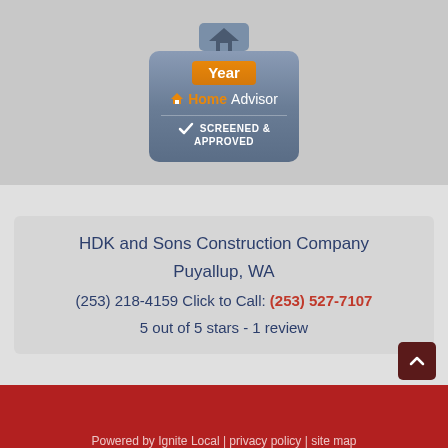[Figure (logo): HomeAdvisor Screened & Approved badge with orange 'Year' banner and house icon]
HDK and Sons Construction Company
Puyallup, WA
(253) 218-4159 Click to Call: (253) 527-7107
5 out of 5 stars - 1 review
Powered by Ignite Local | privacy policy | site map